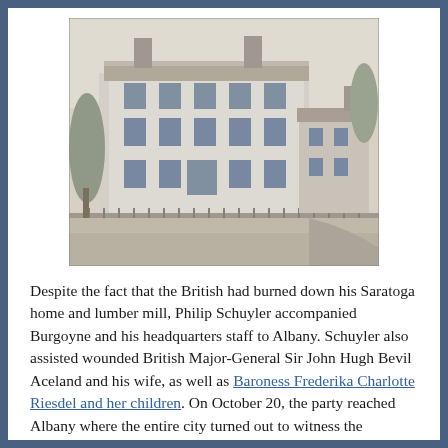[Figure (photo): Black and white illustration/engraving of a large multi-story colonial-era building with chimneys, windows, a fence in the foreground, and a smaller building to the right. Trees and grounds visible.]
Despite the fact that the British had burned down his Saratoga home and lumber mill, Philip Schuyler accompanied Burgoyne and his headquarters staff to Albany. Schuyler also assisted wounded British Major-General Sir John Hugh Bevil Aceland and his wife, as well as Baroness Frederika Charlotte Riesdel and her children. On October 20, the party reached Albany where the entire city turned out to witness the procession. Schuyler hosted the prisoners at his home until they were transferred